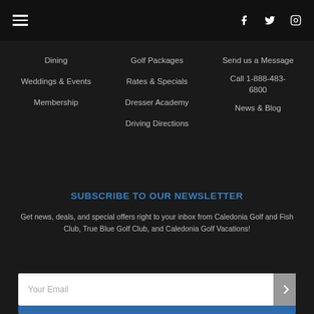≡  f  🐦  ⊙
Dining
Golf Packages
Send us a Message
Weddings & Events
Rates & Specials
Call 1-888-483-6800
Membership
Dresser Academy
News & Blog
Driving Directions
SUBSCRIBE TO OUR NEWSLETTER
Get news, deals, and special offers right to your inbox from Caledonia Golf and Fish Club, True Blue Golf Club, and Caledonia Golf Vacations!